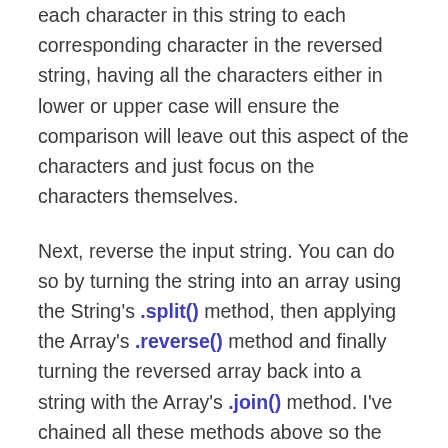each character in this string to each corresponding character in the reversed string, having all the characters either in lower or upper case will ensure the comparison will leave out this aspect of the characters and just focus on the characters themselves.
Next, reverse the input string. You can do so by turning the string into an array using the String's .split() method, then applying the Array's .reverse() method and finally turning the reversed array back into a string with the Array's .join() method. I've chained all these methods above so the code looks cleaner.